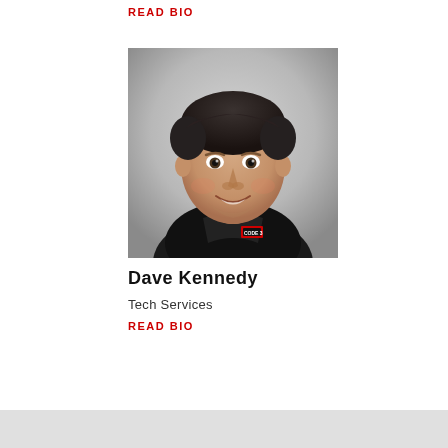READ BIO
[Figure (photo): Professional headshot of Dave Kennedy, a middle-aged man with dark hair wearing a black Code 3 branded polo shirt, photographed against a gray gradient background.]
Dave Kennedy
Tech Services
READ BIO